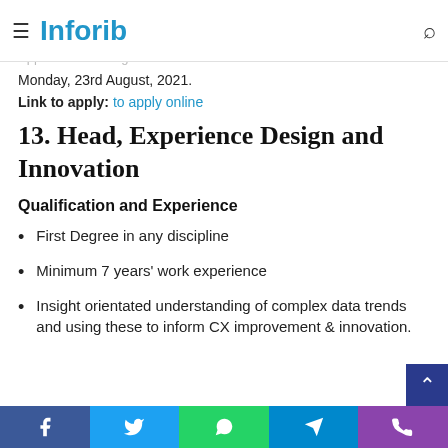≡ Inforib 🔍
and possess excellent networking skills.
Application Closing Date
Monday, 23rd August, 2021.
Link to apply: to apply online
13. Head, Experience Design and Innovation
Qualification and Experience
First Degree in any discipline
Minimum 7 years' work experience
Insight orientated understanding of complex data trends and using these to inform CX improvement & innovation.